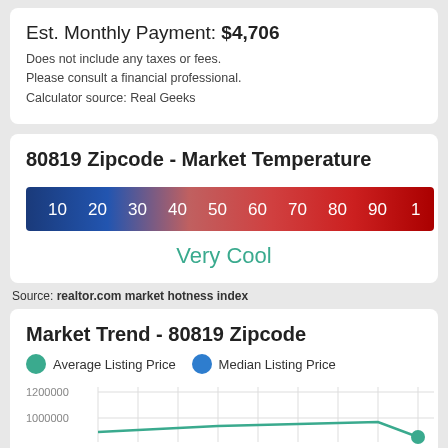Est. Monthly Payment: $4,706
Does not include any taxes or fees.
Please consult a financial professional.
Calculator source: Real Geeks
[Figure (infographic): 80819 Zipcode - Market Temperature gauge bar showing gradient from blue (10) to red (100), with 'Very Cool' label below]
Source: realtor.com market hotness index
[Figure (line-chart): Line chart showing Average Listing Price and Median Listing Price over time, y-axis shows values starting at 1200000 and above 1000000]